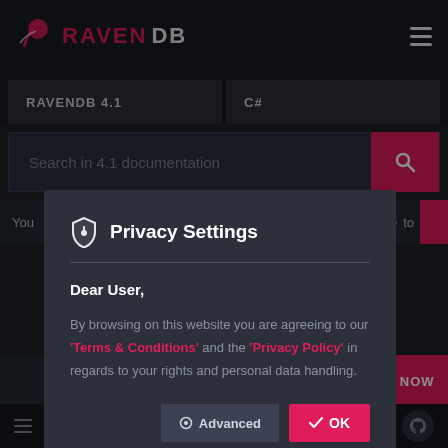[Figure (screenshot): RavenDB documentation website screenshot with Privacy Settings modal dialog overlay. Background shows RavenDB logo, navigation tabs (RAVENDB 4.1, C#), search bar for 4.1 documentation, and partial page content. Foreground shows a dark modal with shield icon, Privacy Settings title, Dear User message, Terms & Conditions and Privacy Policy links in pink, and Advanced / OK buttons.]
Privacy Settings
Dear User,
By browsing on this website you are agreeing to our 'Terms & Conditions' and the 'Privacy Policy' in regards to your rights and personal data handling.